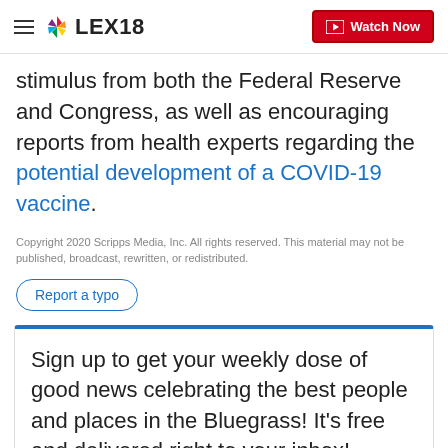LEX18
stimulus from both the Federal Reserve and Congress, as well as encouraging reports from health experts regarding the potential development of a COVID-19 vaccine.
Copyright 2020 Scripps Media, Inc. All rights reserved. This material may not be published, broadcast, rewritten, or redistributed.
Report a typo
Sign up to get your weekly dose of good news celebrating the best people and places in the Bluegrass! It's free and delivered right to your inbox!